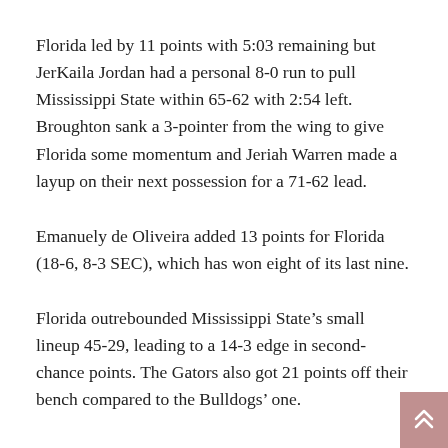Florida led by 11 points with 5:03 remaining but JerKaila Jordan had a personal 8-0 run to pull Mississippi State within 65-62 with 2:54 left. Broughton sank a 3-pointer from the wing to give Florida some momentum and Jeriah Warren made a layup on their next possession for a 71-62 lead.
Emanuely de Oliveira added 13 points for Florida (18-6, 8-3 SEC), which has won eight of its last nine.
Florida outrebounded Mississippi State’s small lineup 45-29, leading to a 14-3 edge in second-chance points. The Gators also got 21 points off their bench compared to the Bulldogs’ one.
Anastasia Hayes scored 22 points and Jordan had 20